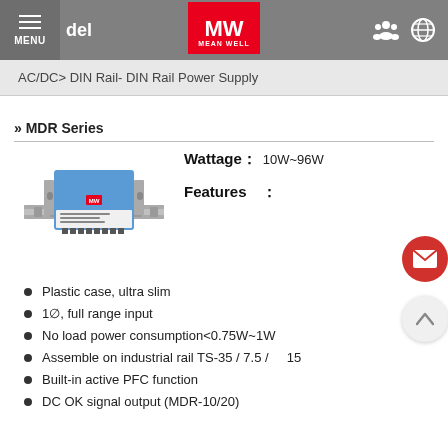MENU | del | MEAN WELL
AC/DC> DIN Rail- DIN Rail Power Supply
» MDR Series
[Figure (photo): Mean Well MDR Series DIN Rail Power Supply unit mounted on a DIN rail, blue and white plastic casing]
Wattage : 10W~96W
Features :
Plastic case, ultra slim
1∅, full range input
No load power consumption<0.75W~1W
Assemble on industrial rail TS-35 / 7.5 / 15
Built-in active PFC function
DC OK signal output (MDR-10/20)